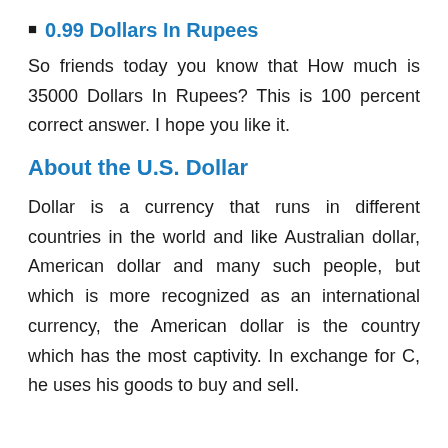0.99 Dollars In Rupees
So friends today you know that How much is 35000 Dollars In Rupees? This is 100 percent correct answer. I hope you like it.
About the U.S. Dollar
Dollar is a currency that runs in different countries in the world and like Australian dollar, American dollar and many such people, but which is more recognized as an international currency, the American dollar is the country which has the most captivity. In exchange for C, he uses his goods to buy and sell.